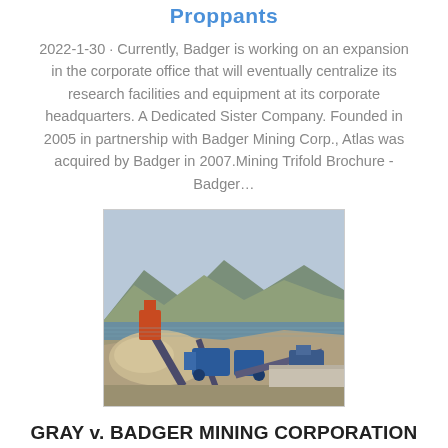Proppants
2022-1-30 · Currently, Badger is working on an expansion in the corporate office that will eventually centralize its research facilities and equipment at its corporate headquarters. A Dedicated Sister Company. Founded in 2005 in partnership with Badger Mining Corp., Atlas was acquired by Badger in 2007.Mining Trifold Brochure - Badger…
[Figure (photo): Photograph of a mining facility near a body of water with mountains in the background, showing conveyor belts, equipment, and piles of material]
GRAY v. BADGER MINING CORPORATION |
2004-3-18 · Further, it can be argued that Badger Mining"s warning falls short of the